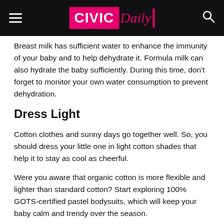CIVIC Daily
Breast milk has sufficient water to enhance the immunity of your baby and to help dehydrate it. Formula milk can also hydrate the baby sufficiently. During this time, don't forget to monitor your own water consumption to prevent dehydration.
Dress Light
Cotton clothes and sunny days go together well. So, you should dress your little one in light cotton shades that help it to stay as cool as cheerful.
Were you aware that organic cotton is more flexible and lighter than standard cotton? Start exploring 100% GOTS-certified pastel bodysuits, which will keep your baby calm and trendy over the season.